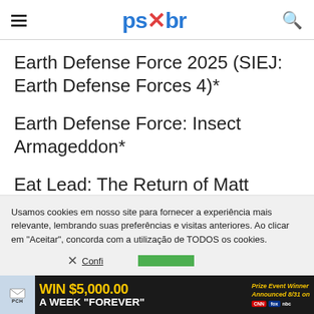ps*br (logo)
Earth Defense Force 2025 (SIEJ: Earth Defense Forces 4)*
Earth Defense Force: Insect Armageddon*
Eat Lead: The Return of Matt Hazard*
Usamos cookies em nosso site para fornecer a experiência mais relevante, lembrando suas preferências e visitas anteriores. Ao clicar em "Aceitar", concorda com a utilização de TODOS os cookies.
Confi...
[Figure (other): Advertisement banner: WIN $5,000.00 A WEEK "FOREVER" - Prize Event Winner Announced 8/31 on CNN, Fox, NBC. PCH envelope logo.]